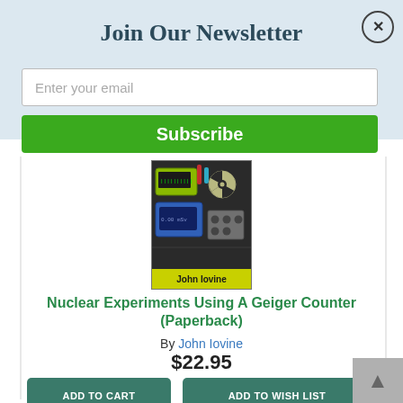Join Our Newsletter
Enter your email
Subscribe
[Figure (photo): Book cover of 'Nuclear Experiments Using A Geiger Counter' by John Iovine, showing radiation equipment on a dark background with a yellow-green author band at bottom.]
Nuclear Experiments Using A Geiger Counter (Paperback)
By John Iovine
$22.95
ADD TO CART
ADD TO WISH LIST
Available at wholesaler. We can order it for you.
(This book cannot be returned.)